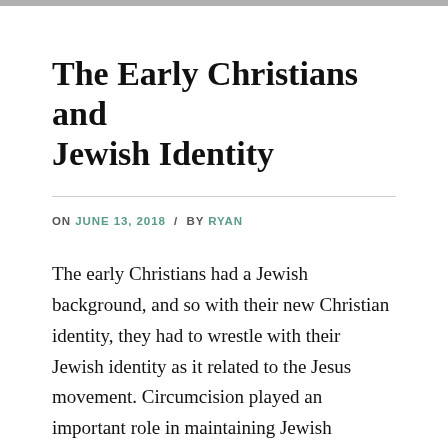The Early Christians and Jewish Identity
ON JUNE 13, 2018 / BY RYAN
The early Christians had a Jewish background, and so with their new Christian identity, they had to wrestle with their Jewish identity as it related to the Jesus movement. Circumcision played an important role in maintaining Jewish identity. Genesis 17 portrays the establishment of circumcision as the sign of the